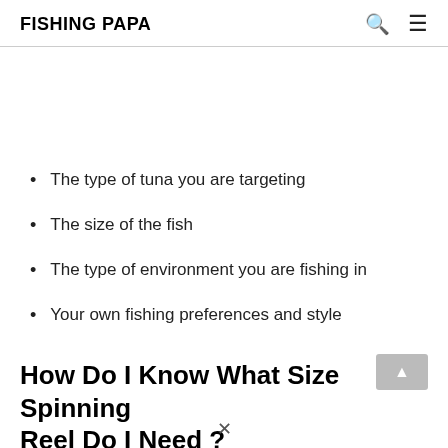FISHING PAPA
The type of tuna you are targeting
The size of the fish
The type of environment you are fishing in
Your own fishing preferences and style
How Do I Know What Size Spinning Reel Do I Need ?